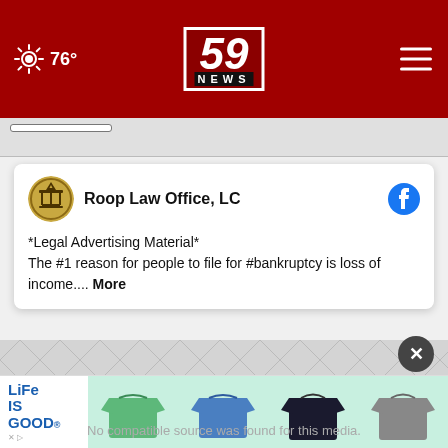59 NEWS — 76°
*Legal Advertising Material*
The #1 reason for people to file for #bankruptcy is loss of income.... More
[Figure (screenshot): Video media placeholder with diamond pattern background and text: No compatible source was found for this media.]
[Figure (illustration): Life Is Good brand advertisement banner showing t-shirts]